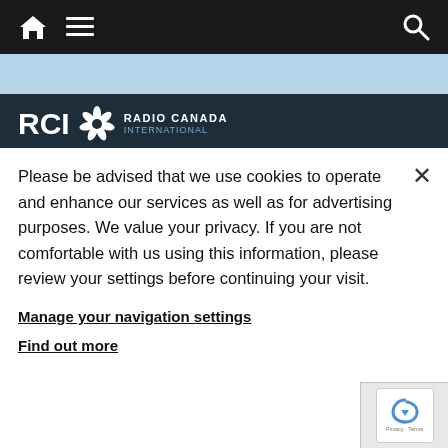Navigation bar with home, menu, and search icons
[Figure (logo): RCI Radio Canada International logo with CBC gem icon]
Please be advised that we use cookies to operate and enhance our services as well as for advertising purposes. We value your privacy. If you are not comfortable with us using this information, please review your settings before continuing your visit.
Manage your navigation settings
Find out more
RCI   Follow us   Resources
FRANÇAIS   Facebook   RADIO-CANADA
ENGLISH   Twitter   Conditions d'utilisation
ESPAÑOL   RCI | Facebook   Ombudsman